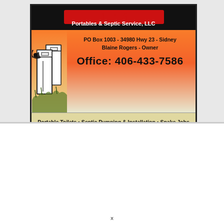[Figure (illustration): Advertisement for Portables & Septic Service, LLC. Shows a business ad with company logo/name in red on black bar at top, a cartoon illustration of portable toilets on the left side, address (PO Box 1003 - 34980 Hwy 23 - Sidney, Blaine Rogers - Owner), phone number (Office: 406-433-7586), and list of services on an orange-to-tan gradient background.]
Portables & Septic Service, LLC
PO Box 1003 - 34980 Hwy 23 - Sidney
Blaine Rogers - Owner
Office: 406-433-7586
Portable Toilets • Septic Pumping & Installation • Snake Jobs
Camera, Locate Sewer Lines • Jetting Frozen Sewer Lines
Pipe Bursting Sewer Lines (Eliminate digging up entire yard)